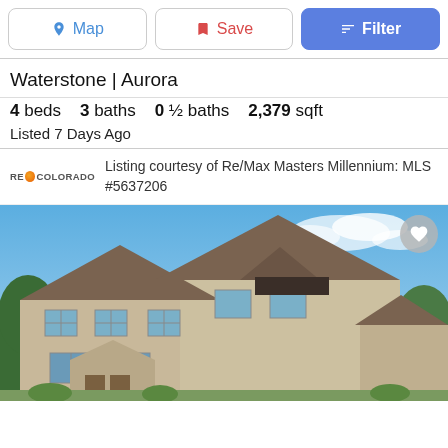[Figure (screenshot): Top navigation bar with Map, Save, and Filter buttons]
Waterstone | Aurora
4 beds  3 baths  0 ½ baths  2,379 sqft
Listed 7 Days Ago
Listing courtesy of Re/Max Masters Millennium: MLS #5637206
[Figure (photo): Exterior photo of a two-story beige/tan house with gabled roof, multiple windows, and trees visible in the background against a blue sky]